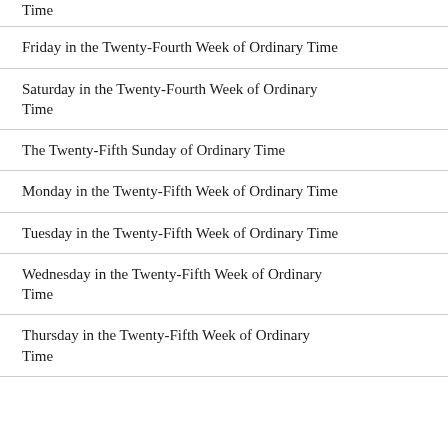Time
Friday in the Twenty-Fourth Week of Ordinary Time
Saturday in the Twenty-Fourth Week of Ordinary Time
The Twenty-Fifth Sunday of Ordinary Time
Monday in the Twenty-Fifth Week of Ordinary Time
Tuesday in the Twenty-Fifth Week of Ordinary Time
Wednesday in the Twenty-Fifth Week of Ordinary Time
Thursday in the Twenty-Fifth Week of Ordinary Time